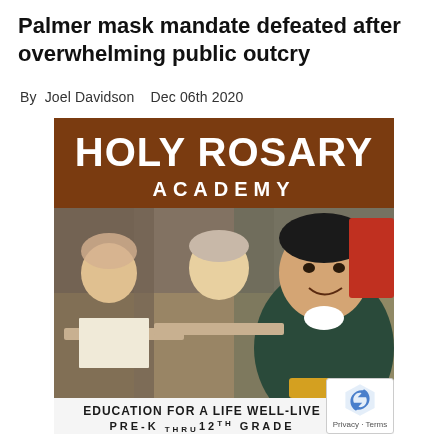Palmer mask mandate defeated after overwhelming public outcry
By Joel Davidson   Dec 06th 2020
[Figure (photo): Advertisement image for Holy Rosary Academy showing children in school uniforms at desks in a classroom. The image features bold text reading 'HOLY ROSARY ACADEMY' on a brown/red banner at top, and at the bottom reads 'EDUCATION FOR A LIFE WELL-LIVED PRE-K THRU 12TH GRADE']